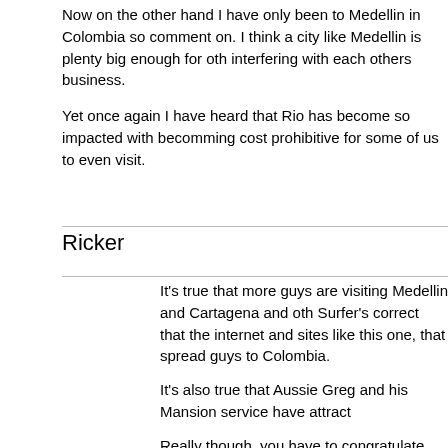Now on the other hand I have only been to Medellin in Colombia so comment on. I think a city like Medellin is plenty big enough for oth interfering with each others business.

Yet once again I have heard that Rio has become so impacted with becomming cost prohibitive for some of us to even visit.
Ricker
It's true that more guys are visiting Medellin and Cartagena and oth Surfer's correct that the internet and sites like this one, that spread guys to Colombia.

It's also true that Aussie Greg and his Mansion service have attract

Really though, you have to congratulate Aussie for his and his part accomplishments in Medellin.
They've done a first rate job in Medellin and now more places are d them ... a pat on the back for them but now more competition.

Like someone else recently stated ... and which I witnessed true o Medellin and the Mansion ... the vast majority of guys that visit Mec keep very close to the Mansion, el Poblado and it's surroundings.
The majority of guys I met are nice dudes looking to relax and have "Mansion chicas" that come by frequently.
Most guys are very "espanol limited" and don't dare vonture to fa